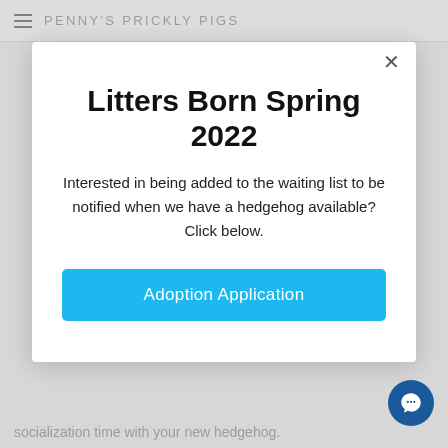PENNY'S PRICKLY PIGS
Litters Born Spring 2022
Interested in being added to the waiting list to be notified when we have a hedgehog available? Click below.
Adoption Application
socialization time with your new hedgehog.